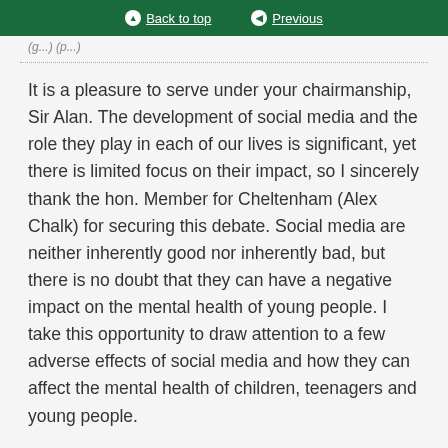Back to top | Previous
(g...) (p...)
It is a pleasure to serve under your chairmanship, Sir Alan. The development of social media and the role they play in each of our lives is significant, yet there is limited focus on their impact, so I sincerely thank the hon. Member for Cheltenham (Alex Chalk) for securing this debate. Social media are neither inherently good nor inherently bad, but there is no doubt that they can have a negative impact on the mental health of young people. I take this opportunity to draw attention to a few adverse effects of social media and how they can affect the mental health of children, teenagers and young people.